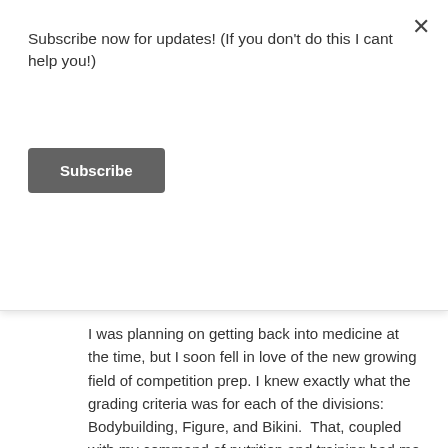Subscribe now for updates! (If you don't do this I cant help you!)
Subscribe
I was planning on getting back into medicine at the time, but I soon fell in love of the new growing field of competition prep. I knew exactly what the grading criteria was for each of the divisions: Bodybuilding, Figure, and Bikini.  That, coupled with my command of nutrition and training had me in a good place to start using competition prep as a form of income. I made a living at competition prep and specializing in bikini for